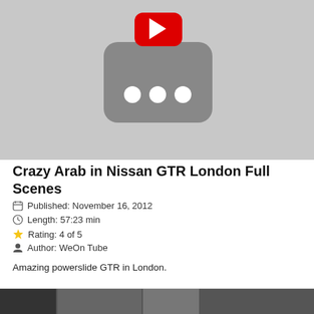[Figure (screenshot): YouTube video thumbnail placeholder showing a gray YouTube logo shape with a red play button and three white dots, on a light gray background]
Crazy Arab in Nissan GTR London Full Scenes
Published: November 16, 2012
Length: 57:23 min
Rating: 4 of 5
Author: WeOn Tube
Amazing powerslide GTR in London.
[Figure (photo): Partial photo visible at the bottom of the page, appears to show a street scene]